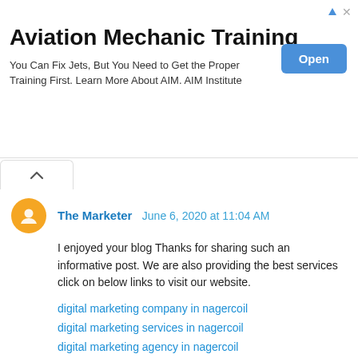[Figure (other): Advertisement banner for Aviation Mechanic Training with an Open button]
The Marketer June 6, 2020 at 11:04 AM
I enjoyed your blog Thanks for sharing such an informative post. We are also providing the best services click on below links to visit our website.
digital marketing company in nagercoil
digital marketing services in nagercoil
digital marketing agency in nagercoil
best marketing services in nagercoil
SEO company in nagercoil
SEO services in nagercoil
social media marketing in nagercoil
social media company in nagercoil
PPC services in nagercoil
digital marketing company in velachery
digital marketing company in velachery